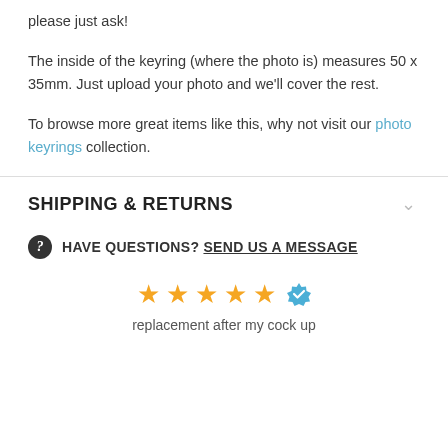please just ask!
The inside of the keyring (where the photo is) measures 50 x 35mm. Just upload your photo and we'll cover the rest.
To browse more great items like this, why not visit our photo keyrings collection.
SHIPPING & RETURNS
HAVE QUESTIONS? SEND US A MESSAGE
[Figure (other): Five gold stars rating with a blue verified checkmark badge]
replacement after my cock up